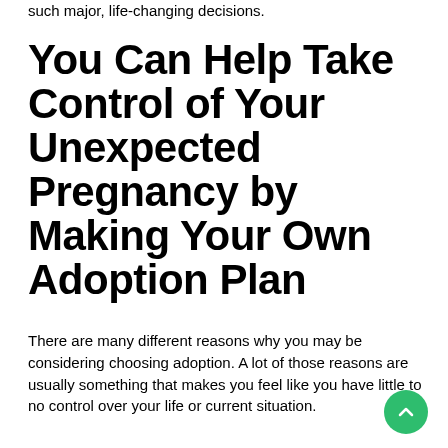such major, life-changing decisions.
You Can Help Take Control of Your Unexpected Pregnancy by Making Your Own Adoption Plan
There are many different reasons why you may be considering choosing adoption. A lot of those reasons are usually something that makes you feel like you have little to no control over your life or current situation.